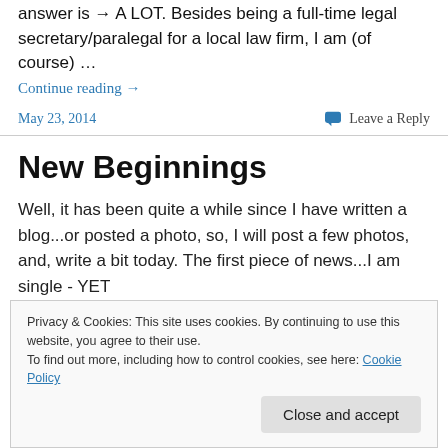answer is → A LOT. Besides being a full-time legal secretary/paralegal for a local law firm, I am (of course) …
Continue reading →
May 23, 2014
Leave a Reply
New Beginnings
Well, it has been quite a while since I have written a blog...or posted a photo, so, I will post a few photos, and, write a bit today. The first piece of news...I am single - YET
Privacy & Cookies: This site uses cookies. By continuing to use this website, you agree to their use.
To find out more, including how to control cookies, see here: Cookie Policy